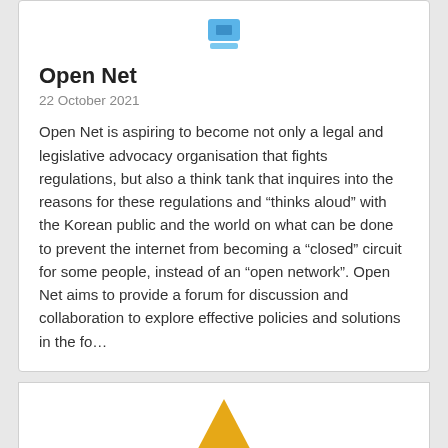[Figure (logo): Small blue logo/icon at top center of card]
Open Net
22 October 2021
Open Net is aspiring to become not only a legal and legislative advocacy organisation that fights regulations, but also a think tank that inquires into the reasons for these regulations and “thinks aloud” with the Korean public and the world on what can be done to prevent the internet from becoming a “closed” circuit for some people, instead of an “open network”. Open Net aims to provide a forum for discussion and collaboration to explore effective policies and solutions in the fo…
[Figure (illustration): Second card with a golden/yellow triangle arrow pointing up, partially visible at bottom of page]